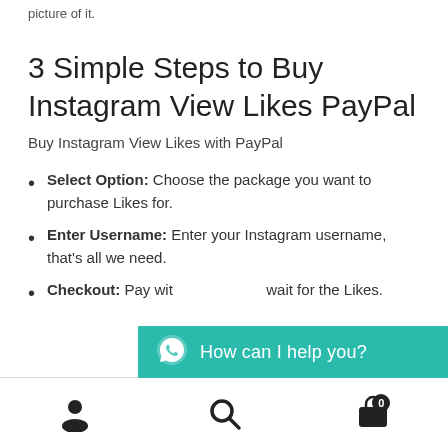picture of it.
3 Simple Steps to Buy Instagram View Likes PayPal
Buy Instagram View Likes with PayPal
Select Option: Choose the package you want to purchase Likes for.
Enter Username: Enter your Instagram username, that's all we need.
Checkout: Pay with… wait for the Likes.
[Figure (infographic): WhatsApp chat button overlay: teal background with WhatsApp icon and text 'How can I help you?']
Bottom navigation bar with person icon, search icon, and cart icon with badge '0'